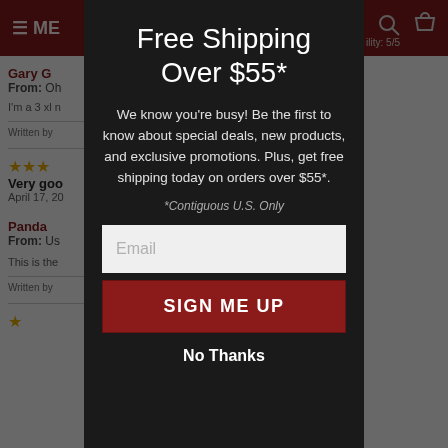[Figure (screenshot): Website popup modal screenshot showing a dark overlay modal with 'Free Shipping Over $55*' promotion, email signup form, and background of a product review page with dark red header bar.]
Free Shipping Over $55*
We know you’re busy! Be the first to know about special deals, new products, and exclusive promotions. Plus, get free shipping today on orders over $55*.
*Contiguous U.S. Only
Email
SIGN ME UP
No Thanks